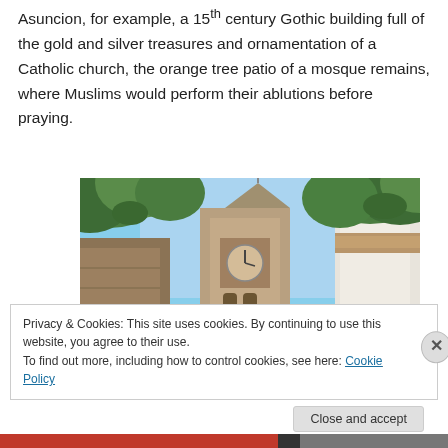Asuncion, for example, a 15th century Gothic building full of the gold and silver treasures and ornamentation of a Catholic church, the orange tree patio of a mosque remains, where Muslims would perform their ablutions before praying.
[Figure (photo): Upward view of a historic church tower with a clock, surrounded by green tree foliage against a blue sky, with white and stone building walls visible on the sides.]
Privacy & Cookies: This site uses cookies. By continuing to use this website, you agree to their use.
To find out more, including how to control cookies, see here: Cookie Policy